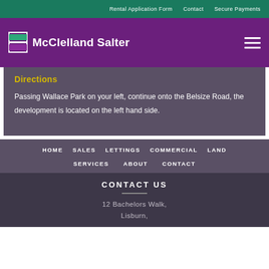Rental Application Form   Contact   Secure Payments
[Figure (logo): McClelland Salter logo with green and purple square icon and white text on purple background]
Directions
Passing Wallace Park on your left, continue onto the Belsize Road, the development is located on the left hand side.
HOME
SALES
LETTINGS
COMMERCIAL
LAND
SERVICES
ABOUT
CONTACT
CONTACT US
12 Bachelors Walk,
Lisburn,